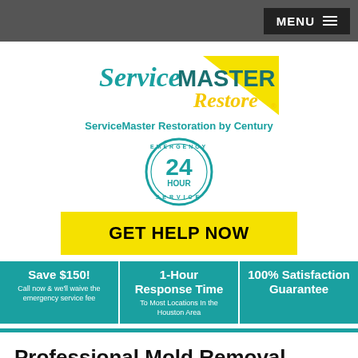MENU
[Figure (logo): ServiceMASTER Restore logo with yellow triangle]
ServiceMaster Restoration by Century
[Figure (other): Emergency 24 Hour Service circular badge]
GET HELP NOW
Save $150! Call now & we'll waive the emergency service fee
1-Hour Response Time To Most Locations In the Houston Area
100% Satisfaction Guarantee
Professional Mold Removal Process
Mold can grow
[Figure (photo): Photo of mold removal / tile surface]